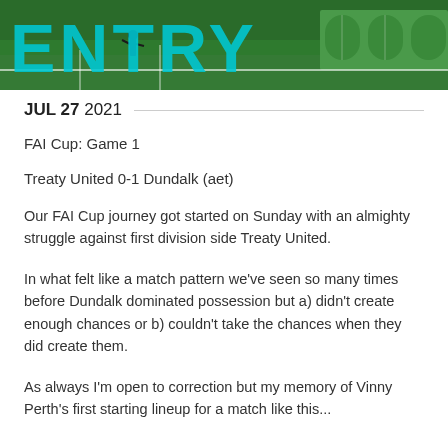[Figure (photo): Header image showing a football pitch with large cyan letters spelling 'ENTRY' across a green field, with players and dugouts visible]
JUL 27 2021
FAI Cup: Game 1
Treaty United 0-1 Dundalk (aet)
Our FAI Cup journey got started on Sunday with an almighty struggle against first division side Treaty United.
In what felt like a match pattern we’ve seen so many times before Dundalk dominated possession but a) didn’t create enough chances or b) couldn’t take the chances when they did create them.
As always I’m open to correction but my memory of Vinny Perth’s first starting lineup for a match like this...